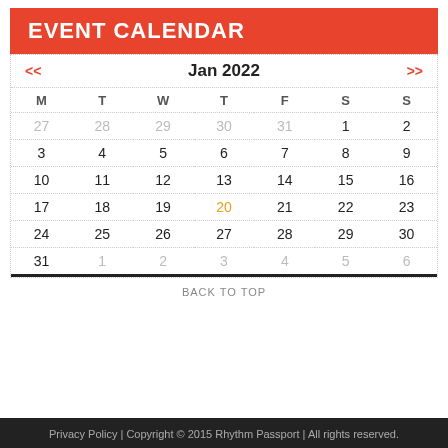EVENT CALENDAR
| M | T | W | T | F | S | S |
| --- | --- | --- | --- | --- | --- | --- |
| 27 | 28 | 29 | 30 | 31 | 1 | 2 |
| 3 | 4 | 5 | 6 | 7 | 8 | 9 |
| 10 | 11 | 12 | 13 | 14 | 15 | 16 |
| 17 | 18 | 19 | 20 | 21 | 22 | 23 |
| 24 | 25 | 26 | 27 | 28 | 29 | 30 |
| 31 | 1 | 2 | 3 | 4 | 5 | 6 |
BACK TO TOP
Privacy Policy | Copyright © 2015 Rhythm Passport | All rights reserved.